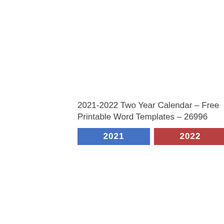2021-2022 Two Year Calendar – Free Printable Word Templates – 26996
[Figure (other): Two colored year label bars side by side: a blue bar labeled '2021' and a dark red bar labeled '2022']